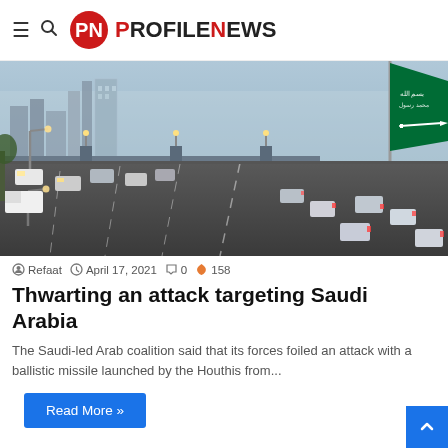ProfileNews
[Figure (photo): Aerial view of a busy multi-lane highway in Saudi Arabia with the Saudi flag (green with white Arabic text and sword) waving in the foreground right, city buildings visible in the background]
Refaat  April 17, 2021  0  158
Thwarting an attack targeting Saudi Arabia
The Saudi-led Arab coalition said that its forces foiled an attack with a ballistic missile launched by the Houthis from...
Read More »